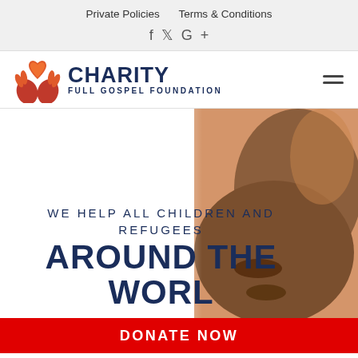Private Policies   Terms & Conditions
[Figure (logo): Charity Full Gospel Foundation logo with orange heart and hands icon]
WE HELP ALL CHILDREN AND REFUGEES
AROUND THE WORLD
[Figure (photo): Close-up of a child's face on the right side of the hero banner]
DONATE NOW